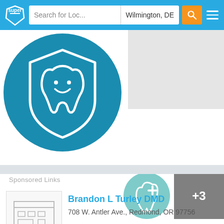Search for Loc... | Wilmington, DE
[Figure (illustration): Dental care logo with smiling tooth inside a shield on a blue circle]
[Figure (illustration): Small thumbnail: tooth with medical cross on teal circle]
+3
Sponsored Links
[Figure (illustration): Building/office icon thumbnail for Brandon L Turley DMD listing]
Brandon L Turley DMD
708 W. Antler Ave., Redmond, OR 97756